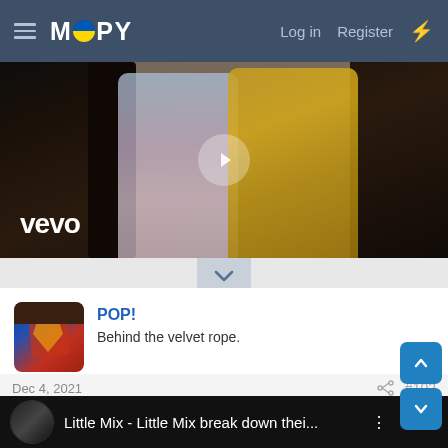MOOPY — Log in  Register
[Figure (screenshot): Vevo music video thumbnail showing two women in metallic outfits with a play button overlay and 'vevo' logo in the lower left]
[Figure (photo): Avatar of a person in a Superman outfit with curly hair]
POP!
Behind the velvet rope.
Dec 4, 2021
#102
[Figure (screenshot): Embedded YouTube-style video card showing Little Mix thumbnails with title: Little Mix - Little Mix break down thei...]